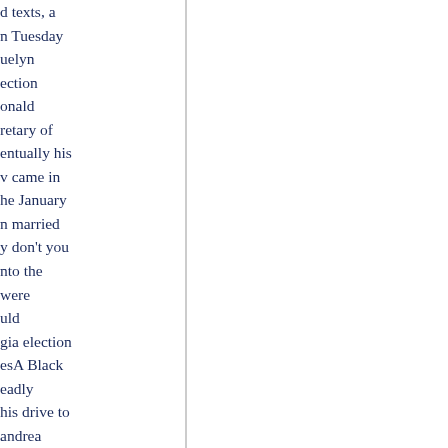d texts, a n Tuesday uelyn ection onald retary of entually his v came in he January n married y don't you nto the were uld gia election esA Black eadly his drive to andrea eceiving ng to the said.